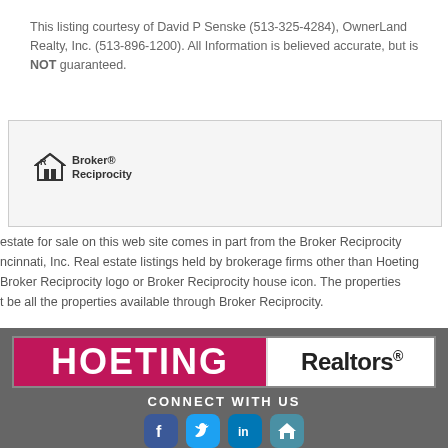This listing courtesy of David P Senske (513-325-4284), OwnerLand Realty, Inc. (513-896-1200). All Information is believed accurate, but is NOT guaranteed.
[Figure (logo): Broker Reciprocity logo with house icon inside a light gray bordered box]
estate for sale on this web site comes in part from the Broker Reciprocity ncinnati, Inc. Real estate listings held by brokerage firms other than Hoeting Broker Reciprocity logo or Broker Reciprocity house icon. The properties t be all the properties available through Broker Reciprocity.
[Figure (logo): Hoeting Realtors logo banner with magenta/pink background on left showing HOETING in white, and white background on right showing Realtors in black, on a dark gray footer]
CONNECT WITH US
[Figure (infographic): Social media icons: Facebook (blue), Twitter (light blue), LinkedIn (blue), Home icon (teal)]